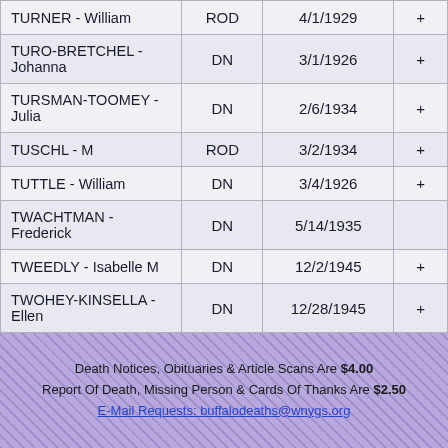| Name | Code | Date | + |
| --- | --- | --- | --- |
| TURNER - William | ROD | 4/1/1929 | + |
| TURO-BRETCHEL - Johanna | DN | 3/1/1926 | + |
| TURSMAN-TOOMEY - Julia | DN | 2/6/1934 | + |
| TUSCHL - M | ROD | 3/2/1934 | + |
| TUTTLE - William | DN | 3/4/1926 | + |
| TWACHTMAN - Frederick | DN | 5/14/1935 |  |
| TWEEDLY - Isabelle M | DN | 12/2/1945 | + |
| TWOHEY-KINSELLA - Ellen | DN | 12/28/1945 | + |
Death Notices, Obituaries & Article Scans Are $4.00 Report Of Death, Missing Person & Cards Of Thanks Are $2.50 E-Mail Requests: buffalodeaths@wnygs.org